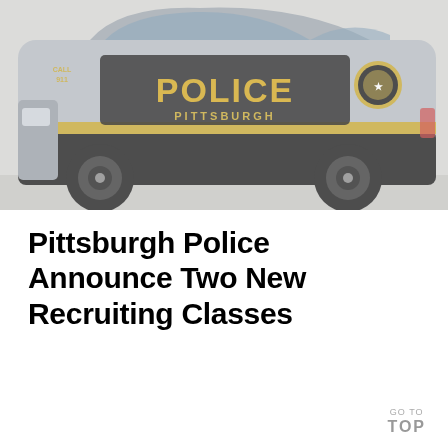[Figure (photo): A Pittsburgh Police SUV patrol vehicle with black and silver livery, 'POLICE PITTSBURGH' text in gold lettering on the side, and a police badge emblem. The vehicle is photographed from the side against a light background.]
Pittsburgh Police Announce Two New Recruiting Classes
GO TO TOP